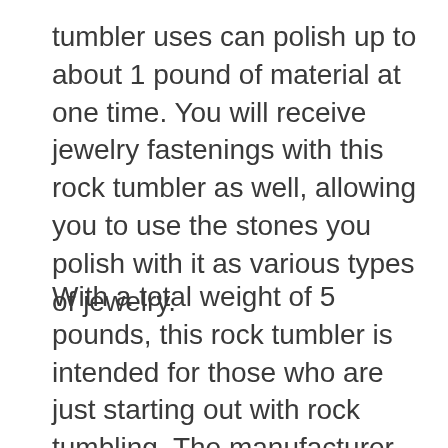tumbler uses can polish up to about 1 pound of material at one time. You will receive jewelry fastenings with this rock tumbler as well, allowing you to use the stones you polish with it as various types of jewelry.
With a total weight of 5 pounds, this rock tumbler is intended for those who are just starting out with rock tumbling. The manufacturer recommended age for this rock tumbling kit is 6-15. This rock tumbler